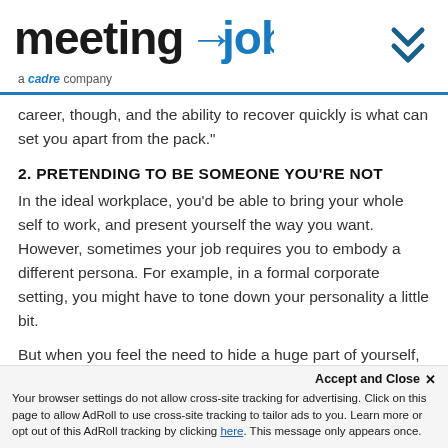[Figure (logo): meetingjobs logo — 'meeting' in black bold, 'jobs' in blue bold, with an arrow between them, subtitle 'a cadre company' in gray with 'cadre' in blue italic. Chevron double-arrow icon top right.]
career, though, and the ability to recover quickly is what can set you apart from the pack."
2. PRETENDING TO BE SOMEONE YOU'RE NOT
In the ideal workplace, you'd be able to bring your whole self to work, and present yourself the way you want. However, sometimes your job requires you to embody a different persona. For example, in a formal corporate setting, you might have to tone down your personality a little bit.
But when you feel the need to hide a huge part of yourself, that's an issue. As Elizabeth Segran reported in a 2015 Fast Company
Accept and Close ×
Your browser settings do not allow cross-site tracking for advertising. Click on this page to allow AdRoll to use cross-site tracking to tailor ads to you. Learn more or opt out of this AdRoll tracking by clicking here. This message only appears once.